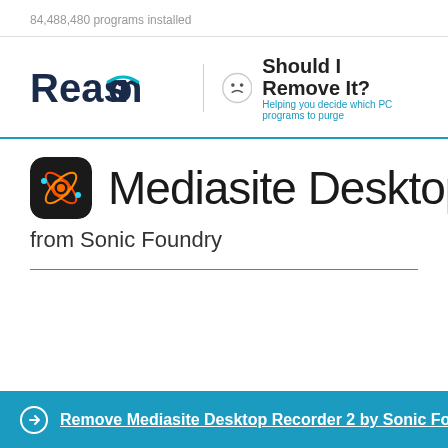84,488,480 programs installed
[Figure (logo): Reason logo and Should I Remove It? logo with smiley face icon and tagline 'Helping you decide which PC programs to purge']
Mediasite Desktop Recorder 2
from Sonic Foundry
Remove Mediasite Desktop Recorder 2 by Sonic Fo.